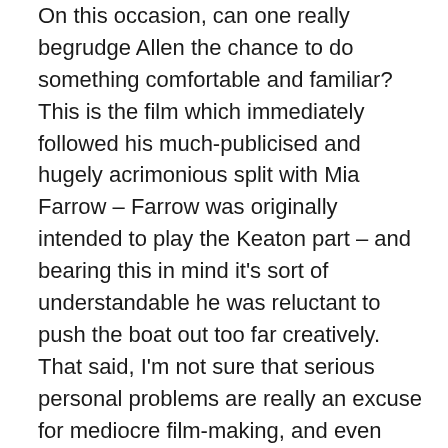On this occasion, can one really begrudge Allen the chance to do something comfortable and familiar? This is the film which immediately followed his much-publicised and hugely acrimonious split with Mia Farrow – Farrow was originally intended to play the Keaton part – and bearing this in mind it's sort of understandable he was reluctant to push the boat out too far creatively. That said, I'm not sure that serious personal problems are really an excuse for mediocre film-making, and even less sure that being a film-maker would be a good enough excuse for some of the things Farrow publicly accused Allen of at the time.
Is this an actively bad film? Arguably not: by this point Allen could do affluent Manhattanite comedy-drama in his sleep, and while the genre element is hardly sparkling stuff, it hangs together and is actually grafted on to the rest